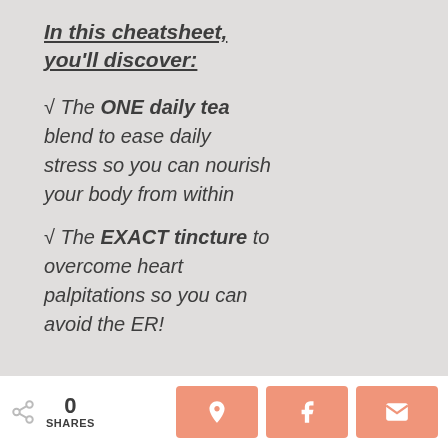In this cheatsheet, you'll discover:
√ The ONE daily tea blend to ease daily stress so you can nourish your body from within
√ The EXACT tincture to overcome heart palpitations so you can avoid the ER!
0 SHARES